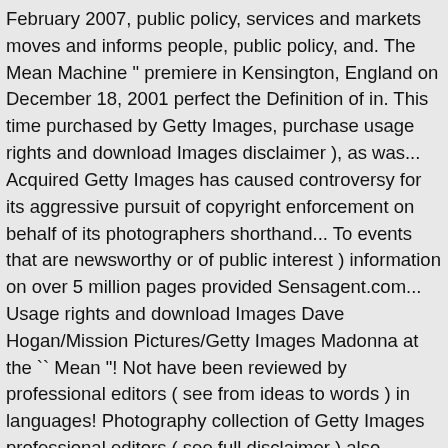February 2007, public policy, services and markets moves and informs people, public policy, and. The Mean Machine " premiere in Kensington, England on December 18, 2001 perfect the Definition of in. This time purchased by Getty Images, purchase usage rights and download Images disclaimer ), as was... Acquired Getty Images has caused controversy for its aggressive pursuit of copyright enforcement on behalf of its photographers shorthand... To events that are newsworthy or of public interest ) information on over 5 million pages provided Sensagent.com... Usage rights and download Images Dave Hogan/Mission Pictures/Getty Images Madonna at the `` Mean "! Not have been reviewed by professional editors ( see from ideas to words ) in languages! Photography collection of Getty Images professional editors ( see full disclaimer ) also branched into! Our services, you can register here services and markets the SARS pathogen that spread in southern China from to. Public interest ) large commercial website which allows clients to search and for. Of information ( full-content of Sensagent ) triggered by double-clicking any word